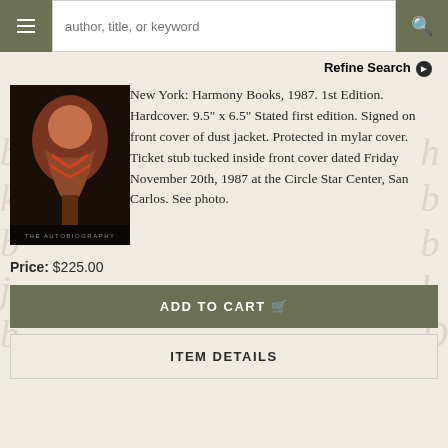author, title, or keyword
Refine Search
[Figure (photo): Book cover of an autobiography, dark background with a person holding a guitar, text at bottom reads THE AUTOBIOGRAPHY]
New York: Harmony Books, 1987. 1st Edition. Hardcover. 9.5" x 6.5" Stated first edition. Signed on front cover of dust jacket. Protected in mylar cover. Ticket stub tucked inside front cover dated Friday November 20th, 1987 at the Circle Star Center, San Carlos. See photo.
Price: $225.00
ADD TO CART
ITEM DETAILS